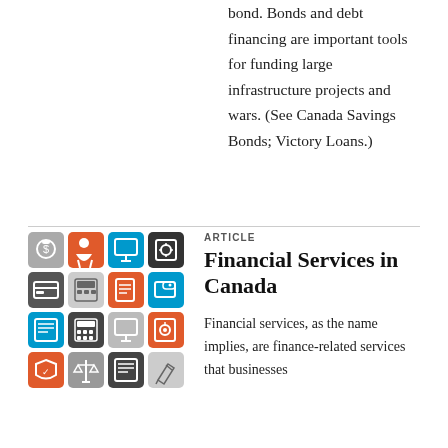bond. Bonds and debt financing are important tools for funding large infrastructure projects and wars. (See Canada Savings Bonds; Victory Loans.)
[Figure (illustration): A 4x4 grid of colorful financial services icons on colored square backgrounds (orange, blue, dark grey, light grey), depicting money, shopping, computing, ATM, calculator, wallet, news, shield, scales, and other finance-related symbols.]
ARTICLE
Financial Services in Canada
Financial services, as the name implies, are finance-related services that businesses